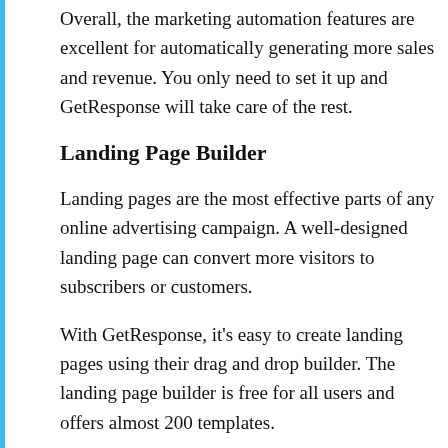Overall, the marketing automation features are excellent for automatically generating more sales and revenue. You only need to set it up and GetResponse will take care of the rest.
Landing Page Builder
Landing pages are the most effective parts of any online advertising campaign. A well-designed landing page can convert more visitors to subscribers or customers.
With GetResponse, it's easy to create landing pages using their drag and drop builder. The landing page builder is free for all users and offers almost 200 templates.
You can start by selecting from the available templates. Then customize the page by dragging and dropping elements such as text, images, videos, buttons, and more. To help you decide which variant is more successful in converting visitors, you can create A/B variations of your landing pages. GetResponse...